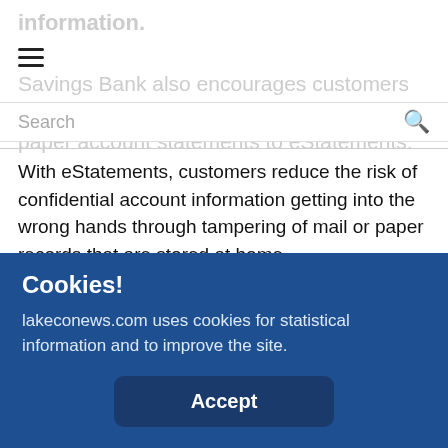information.
Savings Bank also encourages customers to protect their identity by switching from paper account statements to eStatements.
With eStatements, customers reduce the risk of confidential account information getting into the wrong hands through tampering of mail or paper records that are stored at home.
Savings Bank representatives will be available at the shred
Cookies!
lakeconews.com uses cookies for statistical information and to improve the site.
Accept